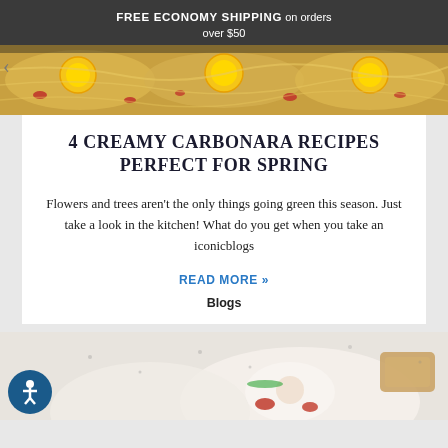FREE ECONOMY SHIPPING on orders over $50
[Figure (photo): Close-up food photo showing pasta carbonara with egg yolks, noodles, and red pepper pieces in a skillet]
4 CREAMY CARBONARA RECIPES PERFECT FOR SPRING
Flowers and trees aren't the only things going green this season. Just take a look in the kitchen! What do you get when you take an iconicblogs
READ MORE »
Blogs
[Figure (photo): Bottom portion of a food photo showing what appears to be eggs or dairy-based dishes with garnishes on a white surface]